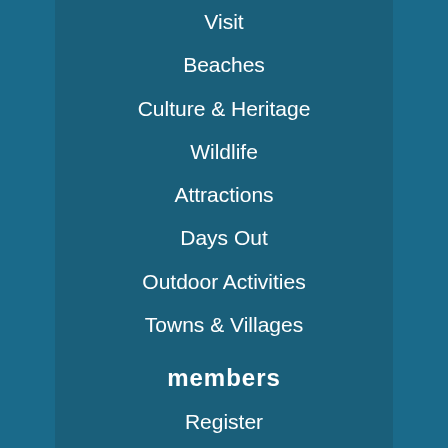Visit
Beaches
Culture & Heritage
Wildlife
Attractions
Days Out
Outdoor Activities
Towns & Villages
members
Register
Login